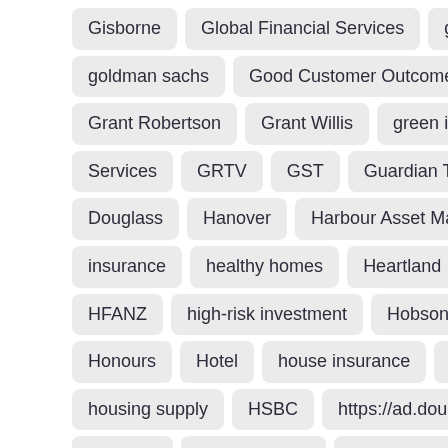Gisborne
Global Financial Services
global markets
Globa…
goldman sachs
Good Customer Outcomes
government
G…
Grant Robertson
Grant Willis
green investment
greenwas…
Services
GRTV
GST
Guardian Trust
guidance
Ham…
Douglass
Hanover
Harbour Asset Management
Harmoney…
insurance
healthy homes
Heartland
heat pump
Heathc…
HFANZ
high-risk investment
Hobson Wealth
home equity…
Honours
Hotel
house insurance
house prices
housing…
housing supply
HSBC
https://ad.doubleclick.net/ddm/clk/460…
Hubbard
Hugh Stevens
Hunter Hall
Hunter Investment M…
Harrison
ICBC
ICSL
IDS
IFA
IFRS 17
IFSO
Ig…